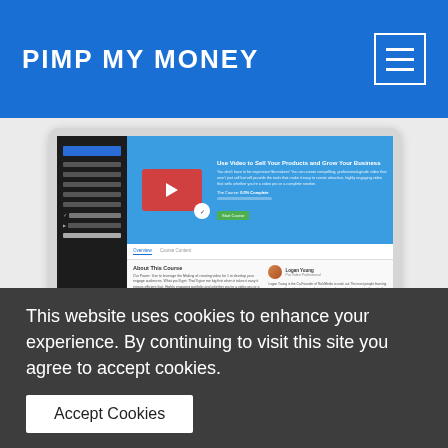PIMP MY MONEY
[Figure (screenshot): Screenshot of a website course page shown inside a desktop monitor illustration. The screen shows a course titled 'Use Video to Sell Your Products and Grow Your Business' with a sidebar navigation, video thumbnail, progress bar at 0.0% Complete, and a Start Course button. Below are tabs for Overview and similar sections, with course description text and an instructor profile card.]
This website uses cookies to enhance your experience. By continuing to visit this site you agree to accept cookies.
Accept Cookies